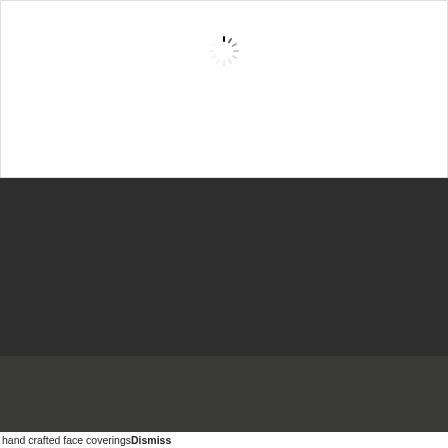[Figure (other): Loading spinner (circular dashes) centered in white content area]
[Figure (other): Dark background section representing page content area]
Copyright © 2022 St Ninian's Church Stonehouse P.
All Rights Reserved. St Ninian's Church Stonehouse is a registered charity – SCO44497
[Figure (other): Social media icons: Facebook, Twitter, YouTube, Instagram]
[Figure (other): reCAPTCHA badge with Privacy and Terms text]
hand crafted face coverings Dismiss